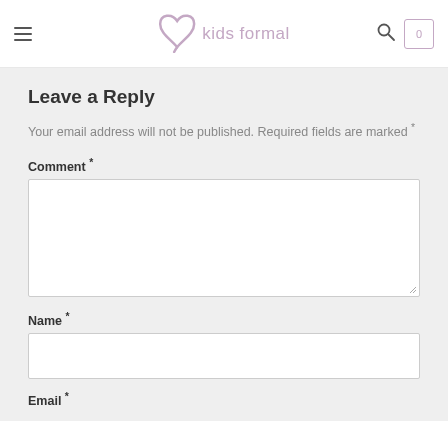kids formal
Leave a Reply
Your email address will not be published. Required fields are marked *
Comment *
Name *
Email *